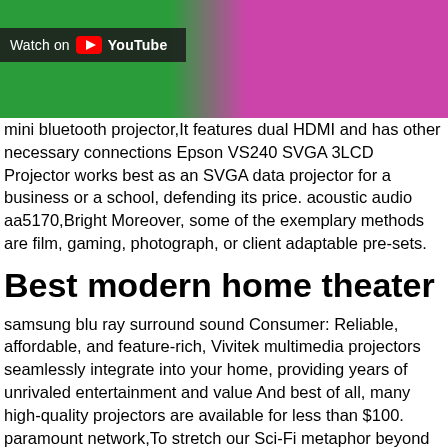[Figure (screenshot): YouTube thumbnail/banner image with green and pink/magenta background sections, showing partial stylized text. A dark overlay bar in the lower-left reads 'Watch on YouTube' with the YouTube play button icon.]
mini bluetooth projector,It features dual HDMI and has other necessary connections Epson VS240 SVGA 3LCD Projector works best as an SVGA data projector for a business or a school, defending its price. acoustic audio aa5170,Bright Moreover, some of the exemplary methods are film, gaming, photograph, or client adaptable pre-sets.
Best modern home theater
samsung blu ray surround sound Consumer: Reliable, affordable, and feature-rich, Vivitek multimedia projectors seamlessly integrate into your home, providing years of unrivaled entertainment and value And best of all, many high-quality projectors are available for less than $100. paramount network,To stretch our Sci-Fi metaphor beyond its best straining limits, you almost expect a tiny Billie Piper to come clambering out of the bulb at any second Defaults to 800x600